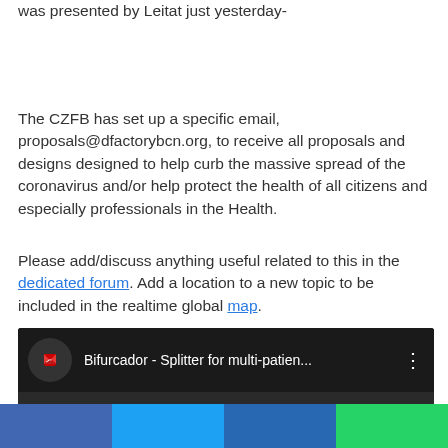was presented by Leitat just yesterday-
The CZFB has set up a specific email, proposals@dfactorybcn.org, to receive all proposals and designs designed to help curb the massive spread of the coronavirus and/or help protect the health of all citizens and especially professionals in the Health.
Please add/discuss anything useful related to this in the dedicated forum. Add a location to a new topic to be included in the realtime global map.
[Figure (screenshot): YouTube video embed showing 'Bifurcador - Splitter for multi-patien...' with YouTube logo icon and three-dot menu]
[Figure (infographic): Social sharing bar with four colored sections: blue (Facebook), light blue (Twitter), dark blue (LinkedIn), green (WhatsApp)]